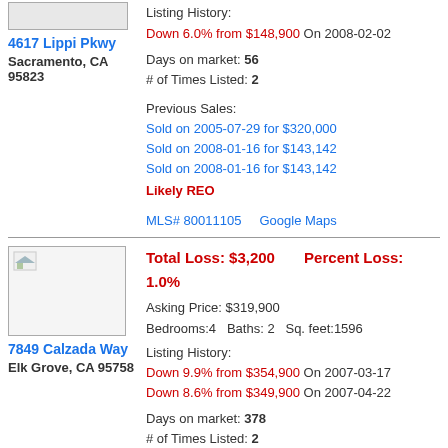[Figure (photo): Property image placeholder top listing]
Listing History: Down 6.0% from $148,900 On 2008-02-02
4617 Lippi Pkwy
Sacramento, CA 95823
Days on market: 56
# of Times Listed: 2
Previous Sales:
Sold on 2005-07-29 for $320,000
Sold on 2008-01-16 for $143,142
Sold on 2008-01-16 for $143,142
Likely REO
MLS# 80011105   Google Maps
[Figure (photo): Property image placeholder second listing]
Total Loss: $3,200   Percent Loss: 1.0%
Asking Price: $319,900
Bedrooms:4  Baths: 2  Sq. feet:1596
Listing History: Down 9.9% from $354,900 On 2007-03-17
Down 8.6% from $349,900 On 2007-04-22
7849 Calzada Way
Elk Grove, CA 95758
Days on market: 378
# of Times Listed: 2
Previous Sales:
Sold on 2005-01-05 for $378,000
Sold on 2007-02-26 for $323,100
MLS# 70026022   Google Maps
Assessed Value   Property Tax Bill